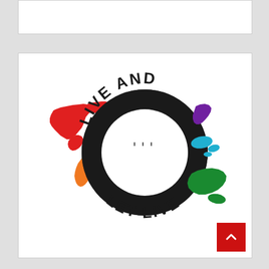[Figure (logo): Live and Let Live logo: black circle with shaka/hang loose hand sign in white, text 'LIVE AND' arcing over the top and 'LET LIVE' along the bottom, surrounded by colorful continent silhouettes: red North America, orange South America, yellow Australia, purple Africa, cyan scattered islands, green Asia/Oceania]
[Figure (other): Red square button with white upward chevron/arrow in bottom right corner]